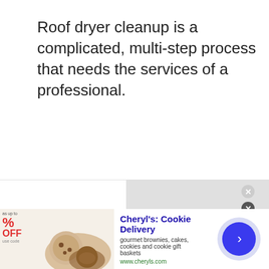Roof dryer cleanup is a complicated, multi-step process that needs the services of a professional.
[Figure (screenshot): Advertisement banner for Cheryl's Cookie Delivery showing a promotional image of cookies/brownies on the left, ad text in the middle, and a blue circular arrow button on the right. Sale text shows up to % OFF. Ad title: Cheryl's: Cookie Delivery, description: gourmet brownies, cakes, cookies and cookie gift baskets, URL: www.cheryls.com]